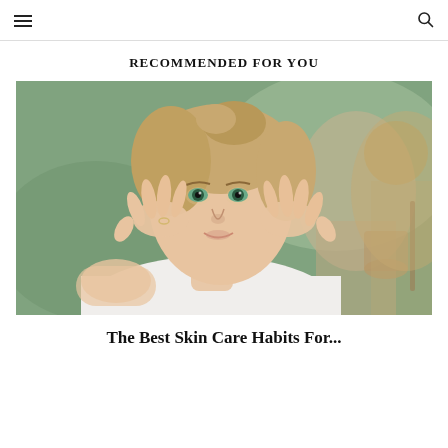≡  🔍
RECOMMENDED FOR YOU
[Figure (photo): A woman applying face cream or skincare product with both hands touching her cheeks, looking into a mirror. She is wearing a white top and her hair is loosely tied up. The background is softly blurred green/bathroom setting.]
The Best Skin Care Habits For...